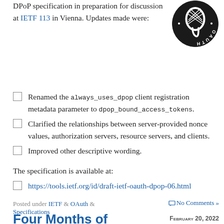DPoP specification in preparation for discussion at IETF 113 in Vienna. Updates made were:
[Figure (logo): OAuth logo — circular badge with stylized drop/key icon and 'OAUTH' text around the edge, black and white]
Renamed the always_uses_dpop client registration metadata parameter to dpop_bound_access_tokens.
Clarified the relationships between server-provided nonce values, authorization servers, resource servers, and clients.
Improved other descriptive wording.
The specification is available at:
https://tools.ietf.org/id/draft-ietf-oauth-dpop-06.html
Posted under IETF & OAuth & Specifications
No Comments »
Four Months of
February 20, 2022